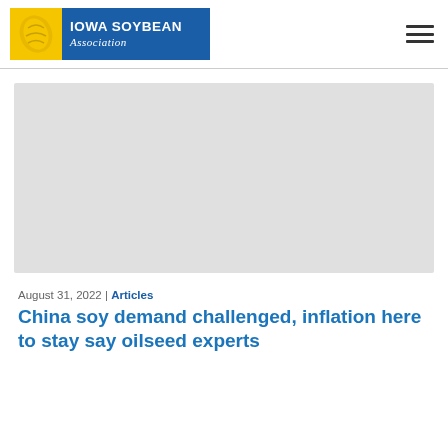Iowa Soybean Association
[Figure (photo): Large light gray image placeholder rectangle]
August 31, 2022 | Articles
China soy demand challenged, inflation here to stay say oilseed experts